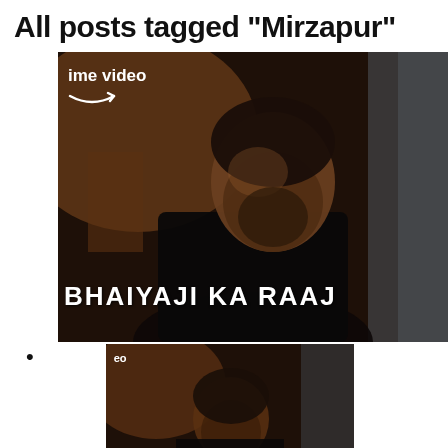All posts tagged "Mirzapur"
[Figure (screenshot): Amazon Prime Video screenshot showing a man looking up, with text 'ime video' and Amazon arrow logo in top-left, and 'BHAIYAJI KA RAAJ' text at the bottom. Dark moody cinematic tone.]
[Figure (screenshot): Smaller thumbnail of the same Amazon Prime Video screenshot, showing a man's face and text 'eo' at top-left and 'YAJI KA RAAJ' at the bottom.]
Videos